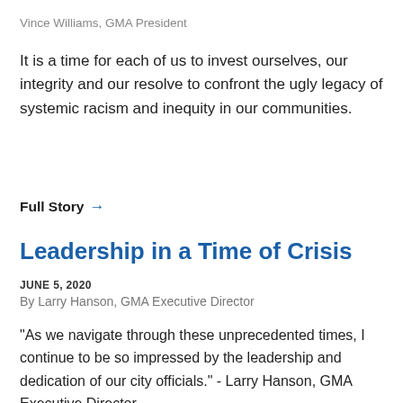Vince Williams, GMA President
It is a time for each of us to invest ourselves, our integrity and our resolve to confront the ugly legacy of systemic racism and inequity in our communities.
Full Story →
Leadership in a Time of Crisis
JUNE 5, 2020
By Larry Hanson, GMA Executive Director
"As we navigate through these unprecedented times, I continue to be so impressed by the leadership and dedication of our city officials." - Larry Hanson, GMA Executive Director